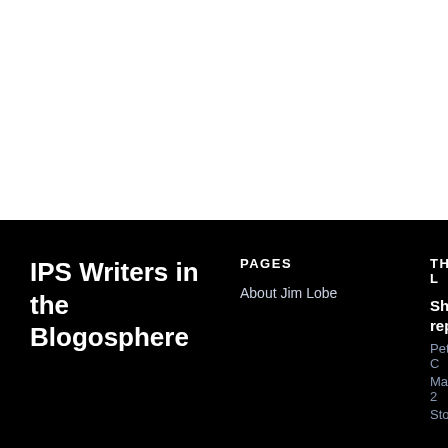[Figure (other): White blank area at the top of the page (image/content area, empty white space)]
IPS Writers in the Blogosphere
PAGES
About Jim Lobe
THE L
Shelt... repor...
Peter C
May 2
Storm...